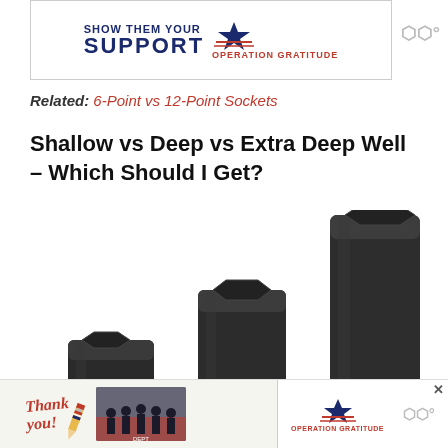[Figure (screenshot): Advertisement banner showing 'SHOW THEM YOUR SUPPORT' with Operation Gratitude logo in red, white and blue]
Related: 6-Point vs 12-Point Sockets
Shallow vs Deep vs Extra Deep Well – Which Should I Get?
[Figure (photo): Three black impact sockets of different heights arranged left to right showing shallow, deep, and extra-deep well sockets]
[Figure (screenshot): Bottom advertisement banner with 'Thank you!' text, firefighter crew photo, and Operation Gratitude logo]